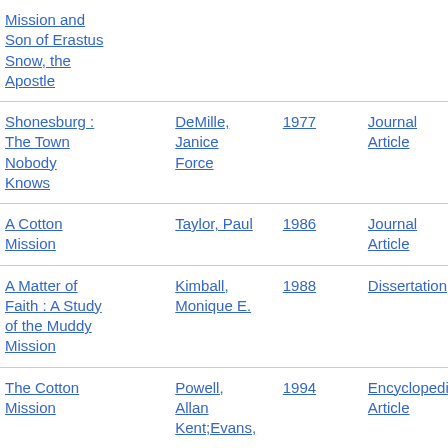Mission and Son of Erastus Snow, the Apostle | | |
Shonesburg : The Town Nobody Knows | DeMille, Janice Force | 1977 | Journal Article
A Cotton Mission | Taylor, Paul | 1986 | Journal Article
A Matter of Faith : A Study of the Muddy Mission | Kimball, Monique E. | 1988 | Dissertation
The Cotton Mission | Powell, Allan Kent;Evans, | 1994 | Encyclopedia Article